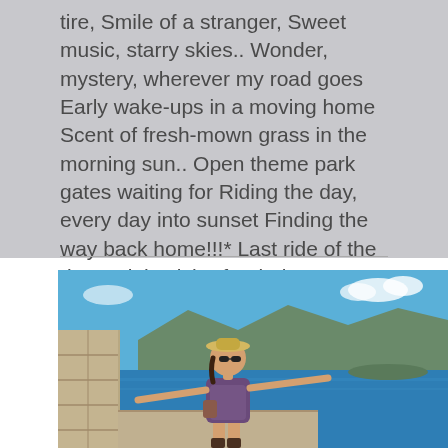tire, Smile of a stranger, Sweet music, starry skies.. Wonder, mystery, wherever my road goes Early wake-ups in a moving home Scent of fresh-mown grass in the morning sun.. Open theme park gates waiting for Riding the day, every day into sunset Finding the way back home!!!* Last ride of the day - Nightwish After bein
[Figure (photo): A woman in a floral dress and straw hat stands on a stone wall with arms outstretched, overlooking a large blue lake with mountains and a small peninsula in the background under a clear sky.]